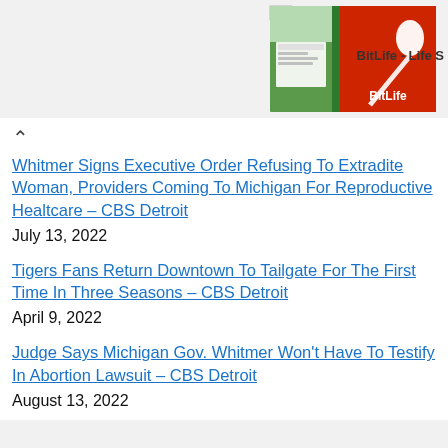[Figure (screenshot): Advertisement banner for BitLife - Life S app showing ad label and colorful game images]
^
Whitmer Signs Executive Order Refusing To Extradite Woman, Providers Coming To Michigan For Reproductive Healtcare – CBS Detroit
July 13, 2022
Tigers Fans Return Downtown To Tailgate For The First Time In Three Seasons – CBS Detroit
April 9, 2022
Judge Says Michigan Gov. Whitmer Won't Have To Testify In Abortion Lawsuit – CBS Detroit
August 13, 2022